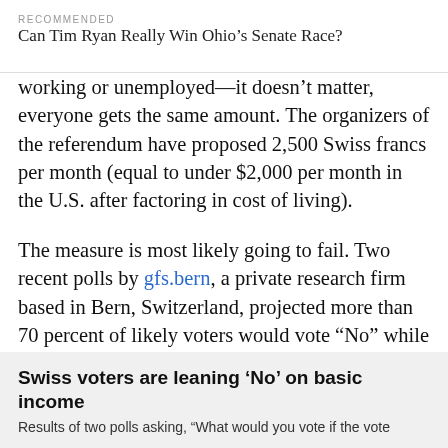RECOMMENDED
Can Tim Ryan Really Win Ohio’s Senate Race?
working or unemployed—it doesn’t matter, everyone gets the same amount. The organizers of the referendum have proposed 2,500 Swiss francs per month (equal to under $2,000 per month in the U.S. after factoring in cost of living).
The measure is most likely going to fail. Two recent polls by gfs.bern, a private research firm based in Bern, Switzerland, projected more than 70 percent of likely voters would vote “No” while about 25 percent would vote “Yes.” There was essentially zero movement between the two polls, one conducted in mid-April and the other in mid-May.
Swiss voters are leaning ‘No’ on basic income
Results of two polls asking, “What would you vote if the vote